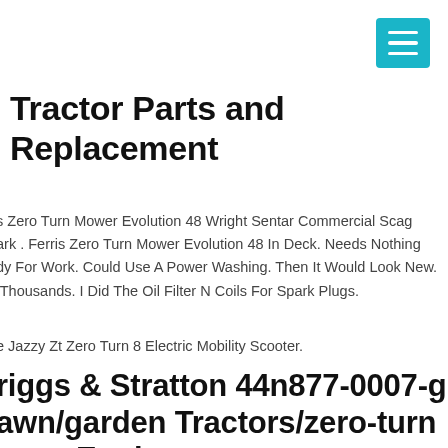[Figure (other): Teal/cyan hamburger menu button in top right corner]
Tractor Parts and Replacement
s Zero Turn Mower Evolution 48 Wright Sentar Commercial Scag ark . Ferris Zero Turn Mower Evolution 48 In Deck. Needs Nothing dy For Work. Could Use A Power Washing. Then It Would Look New. Thousands. I Did The Oil Filter N Coils For Spark Plugs.
e Jazzy Zt Zero Turn 8 Electric Mobility Scooter.
riggs & Stratton 44n877-0007-g1 awn/garden Tractors/zero-turn ower Engine
Following Is For Mower With A Separate Choke Cable Your Mower M e A Separate Cable To Connect To The Choke Device Of Your Engine